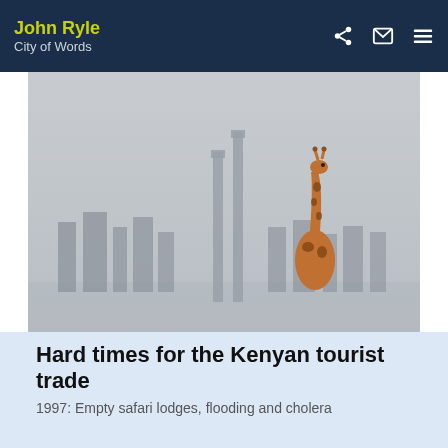John Ryle | City of Words
[Figure (photo): A giraffe standing in front of a misty Nairobi city skyline with tall buildings and industrial structures in the background. The scene is hazy/foggy.]
Hard times for the Kenyan tourist trade
1997: Empty safari lodges, flooding and cholera
[Figure (illustration): A cartoon/comic-style illustration split in two panels. Left panel shows hands holding an orange mango fruit with green leaves. Right panel shows a person thinking (thought bubble) about a gold coin being held by hands.]